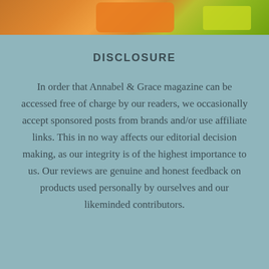[Figure (photo): Top strip showing a partial photo with orange and yellow-green colors, appearing to be outdoor items or produce]
DISCLOSURE
In order that Annabel & Grace magazine can be accessed free of charge by our readers, we occasionally accept sponsored posts from brands and/or use affiliate links. This in no way affects our editorial decision making, as our integrity is of the highest importance to us. Our reviews are genuine and honest feedback on products used personally by ourselves and our likeminded contributors.